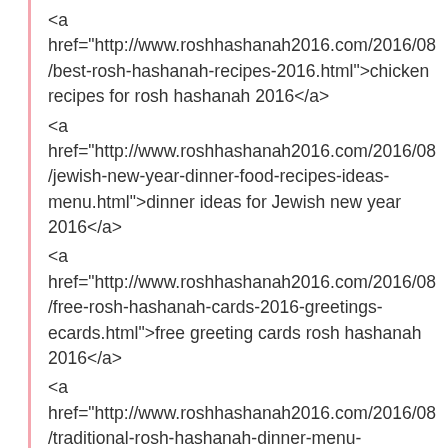<a href="http://www.roshhashanah2016.com/2016/08/best-rosh-hashanah-recipes-2016.html">chicken recipes for rosh hashanah 2016</a>
<a href="http://www.roshhashanah2016.com/2016/08/jewish-new-year-dinner-food-recipes-ideas-menu.html">dinner ideas for Jewish new year 2016</a>
<a href="http://www.roshhashanah2016.com/2016/08/free-rosh-hashanah-cards-2016-greetings-ecards.html">free greeting cards rosh hashanah 2016</a>
<a href="http://www.roshhashanah2016.com/2016/08/traditional-rosh-hashanah-dinner-menu-ideas.html">dinner ideas rosh hashanah 2016 </a>